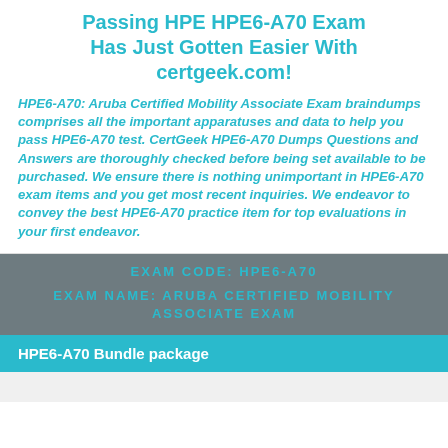Passing HPE HPE6-A70 Exam Has Just Gotten Easier With certgeek.com!
HPE6-A70: Aruba Certified Mobility Associate Exam braindumps comprises all the important apparatuses and data to help you pass HPE6-A70 test. CertGeek HPE6-A70 Dumps Questions and Answers are thoroughly checked before being set available to be purchased. We ensure there is nothing unimportant in HPE6-A70 exam items and you get most recent inquiries. We endeavor to convey the best HPE6-A70 practice item for top evaluations in your first endeavor.
EXAM CODE: HPE6-A70
EXAM NAME: ARUBA CERTIFIED MOBILITY ASSOCIATE EXAM
HPE6-A70 Bundle package